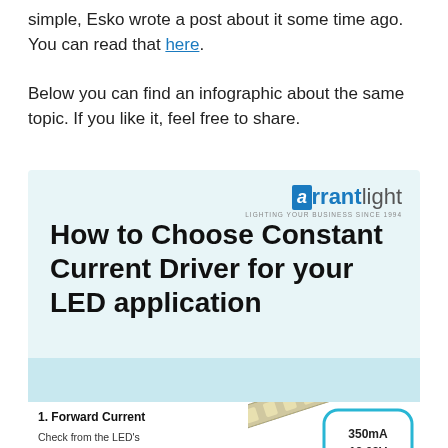simple, Esko wrote a post about it some time ago. You can read that here.
Below you can find an infographic about the same topic. If you like it, feel free to share.
[Figure (infographic): Infographic titled 'How to Choose Constant Current Driver for your LED application' with ArrantLight logo at top right and LED bulb drops below. Bottom section shows section 1: Forward Current with text 'Check from the LED's datasheet what current does the LED need', a LED strip photo, and a speech bubble showing 350mA / 12.08V.]